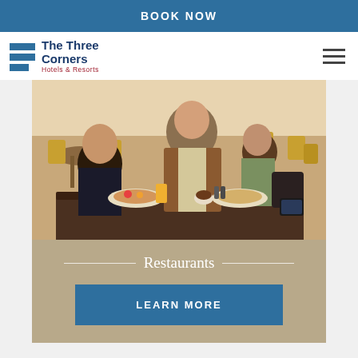BOOK NOW
[Figure (logo): The Three Corners Hotels & Resorts logo with three blue horizontal bars and text]
[Figure (photo): A family dining at a restaurant — a man in a brown jacket with a young girl leaning on him, and a woman across the table, with food and drinks on the table in a bright restaurant setting]
Restaurants
LEARN MORE